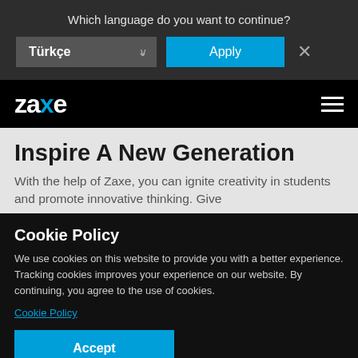Which language do you want to continue?
Türkçe
Apply
[Figure (logo): Zaxe logo in white with blue X on black background]
Inspire A New Generation
With the help of Zaxe, you can ignite creativity in students and promote innovative thinking. Give
Cookie Policy
We use cookies on this website to provide you with a better experience. Tracking cookies improves your experience on our website. By continuing, you agree to the use of cookies.
Cookie Policy
Accept